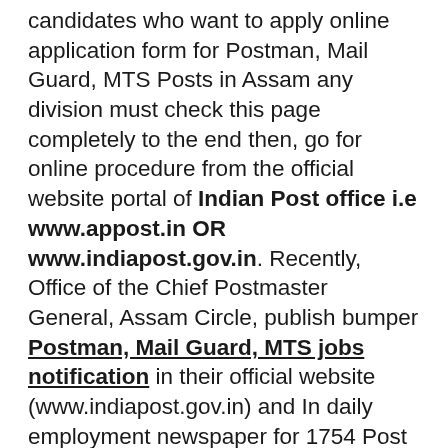candidates who want to apply online application form for Postman, Mail Guard, MTS Posts in Assam any division must check this page completely to the end then, go for online procedure from the official website portal of Indian Post office i.e www.appost.in OR www.indiapost.gov.in. Recently, Office of the Chief Postmaster General, Assam Circle, publish bumper Postman, Mail Guard, MTS jobs notification in their official website (www.indiapost.gov.in) and In daily employment newspaper for 1754 Post office posts in 33 Division of Assam state who posses 10th Pass (Matriculation) Qualification with having Basic Knowledge of Computer. All the interested and Eligible contestant can now Apply Online Application